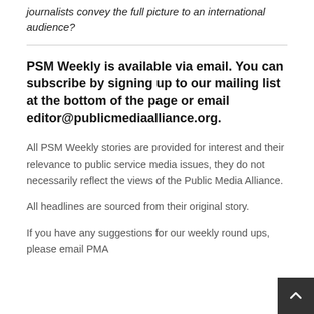journalists convey the full picture to an international audience?
PSM Weekly is available via email. You can subscribe by signing up to our mailing list at the bottom of the page or email editor@publicmediaalliance.org.
All PSM Weekly stories are provided for interest and their relevance to public service media issues, they do not necessarily reflect the views of the Public Media Alliance.
All headlines are sourced from their original story.
If you have any suggestions for our weekly round ups, please email PMA